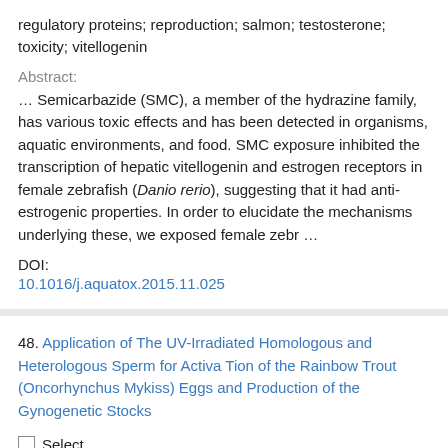regulatory proteins; reproduction; salmon; testosterone; toxicity; vitellogenin
Abstract:
… Semicarbazide (SMC), a member of the hydrazine family, has various toxic effects and has been detected in organisms, aquatic environments, and food. SMC exposure inhibited the transcription of hepatic vitellogenin and estrogen receptors in female zebrafish (Danio rerio), suggesting that it had anti-estrogenic properties. In order to elucidate the mechanisms underlying these, we exposed female zebr …
DOI:
10.1016/j.aquatox.2015.11.025
48. Application of The UV-Irradiated Homologous and Heterologous Sperm for Activa Tion of the Rainbow Trout (Oncorhynchus Mykiss) Eggs and Production of the Gynogenetic Stocks
Select